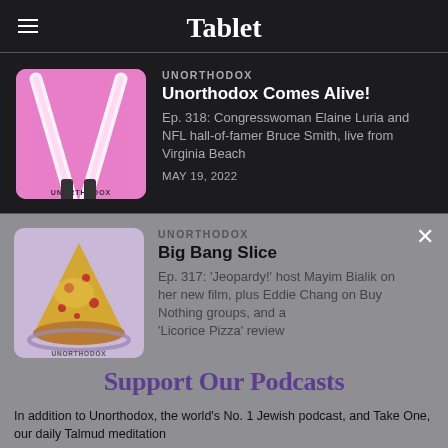Tablet
[Figure (screenshot): Podcast listing for Unorthodox - Unorthodox Comes Alive! Ep. 318 with lightsaber artwork on pink background]
Unorthodox Comes Alive!
UNORTHODOX
Ep. 318: Congresswoman Elaine Luria and NFL hall-of-famer Bruce Smith, live from Virginia Beach
MAY 19, 2022
[Figure (screenshot): Podcast listing for Unorthodox - Big Bang Slice Ep. 317 with pizza slice artwork on purple background]
Big Bang Slice
UNORTHODOX
Ep. 317: 'Jeopardy!' host Mayim Bialik on her new film, plus Eddie Chang on Buy Nothing groups, and a 'Licorice Pizza' review
Support Our Podcasts
In addition to Unorthodox, the world's No. 1 Jewish podcast, and Take One, our daily Talmud meditation